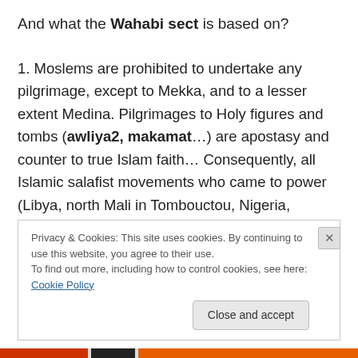And what the Wahabi sect is based on?
1. Moslems are prohibited to undertake any pilgrimage, except to Mekka, and to a lesser extent Medina. Pilgrimages to Holy figures and tombs (awliya2, makamat…) are apostasy and counter to true Islam faith… Consequently, all Islamic salafist movements who came to power (Libya, north Mali in Tombouctou, Nigeria, Yemen, Afghanistan…) have undertaken to destroy the tombs of the Holy figures in Islam. In Iraq, Tunisia and Egypt, both Shia and Sunni Holy tombs have been
Privacy & Cookies: This site uses cookies. By continuing to use this website, you agree to their use.
To find out more, including how to control cookies, see here: Cookie Policy